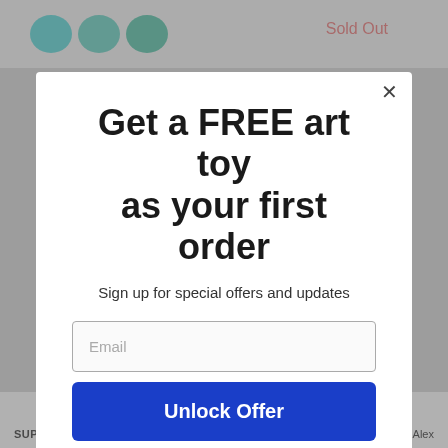[Figure (screenshot): E-commerce website background showing toy product images and 'Sold Out' label, partially obscured by modal overlay]
Get a FREE art toy as your first order
Sign up for special offers and updates
Email
Unlock Offer
By signing up, you agree to receive email marketing
No, thanks
SUPERPLASTIC
inch figure by Alex